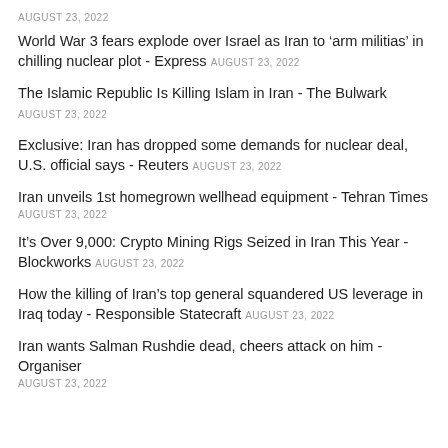AUGUST 23, 2022
World War 3 fears explode over Israel as Iran to ‘arm militias’ in chilling nuclear plot - Express AUGUST 23, 2022
The Islamic Republic Is Killing Islam in Iran - The Bulwark AUGUST 23, 2022
Exclusive: Iran has dropped some demands for nuclear deal, U.S. official says - Reuters AUGUST 23, 2022
Iran unveils 1st homegrown wellhead equipment - Tehran Times AUGUST 23, 2022
It’s Over 9,000: Crypto Mining Rigs Seized in Iran This Year - Blockworks AUGUST 23, 2022
How the killing of Iran’s top general squandered US leverage in Iraq today - Responsible Statecraft AUGUST 23, 2022
Iran wants Salman Rushdie dead, cheers attack on him - Organiser AUGUST 23, 2022